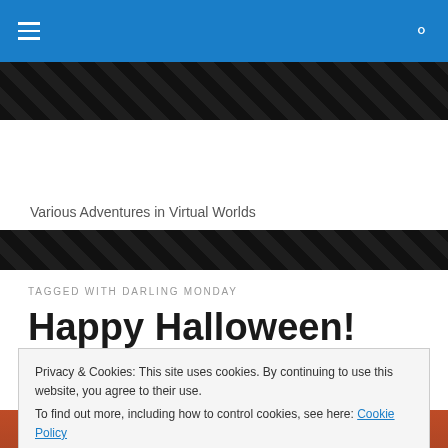Navigation bar with hamburger menu and search icon
[Figure (screenshot): Dark decorative banner strip with repeating diagonal pattern]
Various Adventures in Virtual Worlds
[Figure (screenshot): Second dark decorative banner strip]
TAGGED WITH DARLING MONDAY
Happy Halloween!
Have a great Halloween!
Privacy & Cookies: This site uses cookies. By continuing to use this website, you agree to their use.
To find out more, including how to control cookies, see here: Cookie Policy
[Figure (photo): Bottom portion of a Halloween-themed image]